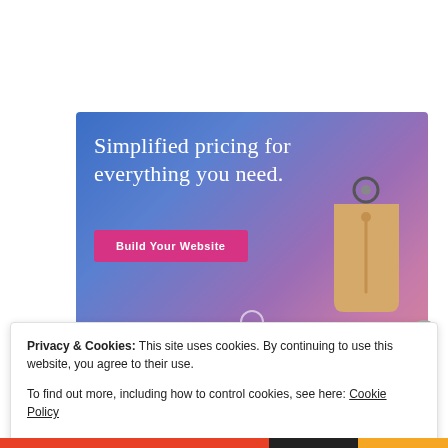[Figure (illustration): Advertisement banner with blue-to-purple gradient background, white serif text reading 'Simplified pricing for everything you need.', a pink 'Build Your Website' button, and a 3D price tag illustration on the right]
Privacy & Cookies: This site uses cookies. By continuing to use this website, you agree to their use.
To find out more, including how to control cookies, see here: Cookie Policy
Close and accept